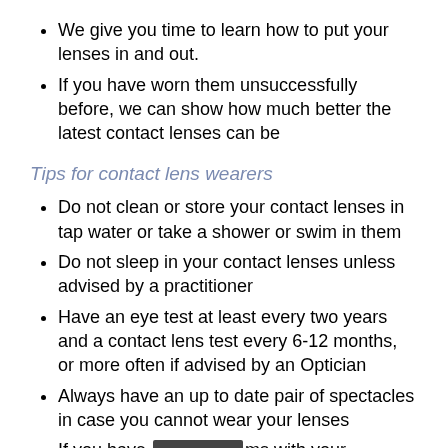We give you time to learn how to put your lenses in and out.
If you have worn them unsuccessfully before, we can show how much better the latest contact lenses can be
Tips for contact lens wearers
Do not clean or store your contact lenses in tap water or take a shower or swim in them
Do not sleep in your contact lenses unless advised by a practitioner
Have an eye test at least every two years and a contact lens test every 6-12 months, or more often if advised by an Optician
Always have an up to date pair of spectacles in case you cannot wear your lenses
If you have [obscured] ms with your